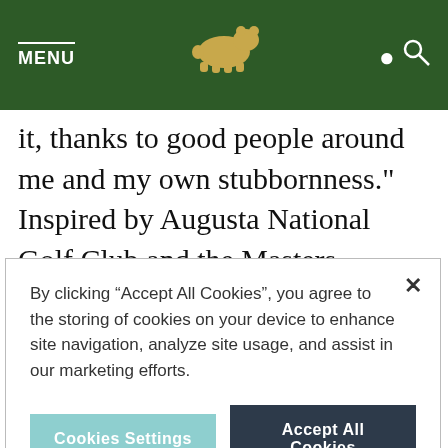MENU [bear logo] [search icon]
it, thanks to good people around me and my own stubbornness." Inspired by Augusta National Golf Club and the Masters Tournament—the
By clicking “Accept All Cookies”, you agree to the storing of cookies on your device to enhance site navigation, analyze site usage, and assist in our marketing efforts.
Cookies Settings | Accept All Cookies